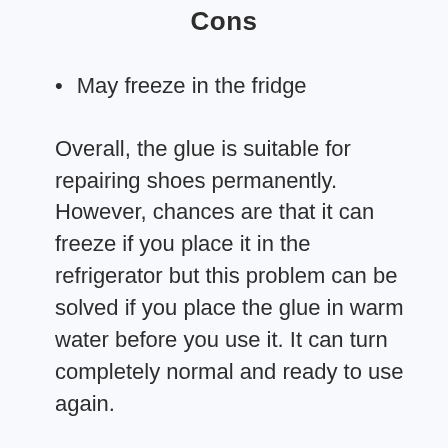Cons
May freeze in the fridge
Overall, the glue is suitable for repairing shoes permanently. However, chances are that it can freeze if you place it in the refrigerator but this problem can be solved if you place the glue in warm water before you use it. It can turn completely normal and ready to use again.
Moreover, the instructions need to be followed correctly if you want to see the desired outcome. Many people complain because they do not pay heed to the instructions and that